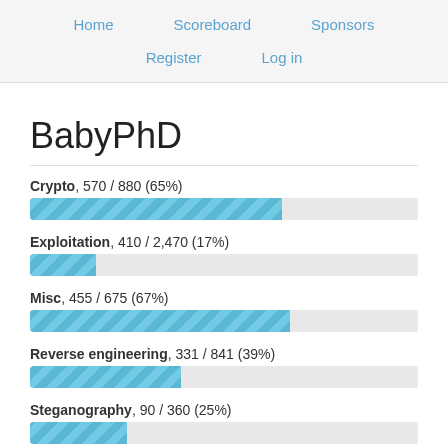Home   Scoreboard   Sponsors   Register   Log in
BabyPhD
Crypto, 570 / 880 (65%)
[Figure (bar-chart): Crypto progress]
Exploitation, 410 / 2,470 (17%)
[Figure (bar-chart): Exploitation progress]
Misc, 455 / 675 (67%)
[Figure (bar-chart): Misc progress]
Reverse engineering, 331 / 841 (39%)
[Figure (bar-chart): Reverse engineering progress]
Steganography, 90 / 360 (25%)